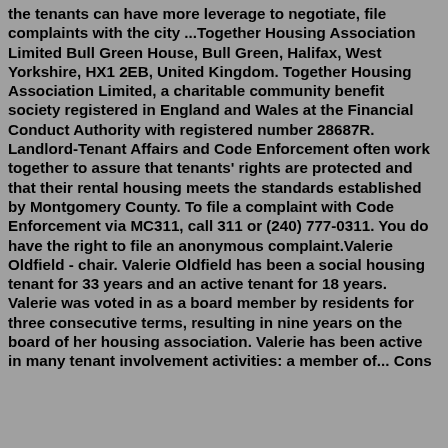the tenants can have more leverage to negotiate, file complaints with the city ...Together Housing Association Limited Bull Green House, Bull Green, Halifax, West Yorkshire, HX1 2EB, United Kingdom. Together Housing Association Limited, a charitable community benefit society registered in England and Wales at the Financial Conduct Authority with registered number 28687R. Landlord-Tenant Affairs and Code Enforcement often work together to assure that tenants' rights are protected and that their rental housing meets the standards established by Montgomery County. To file a complaint with Code Enforcement via MC311, call 311 or (240) 777-0311. You do have the right to file an anonymous complaint.Valerie Oldfield - chair. Valerie Oldfield has been a social housing tenant for 33 years and an active tenant for 18 years. Valerie was voted in as a board member by residents for three consecutive terms, resulting in nine years on the board of her housing association. Valerie has been active in many tenant involvement activities: a member of... Cons